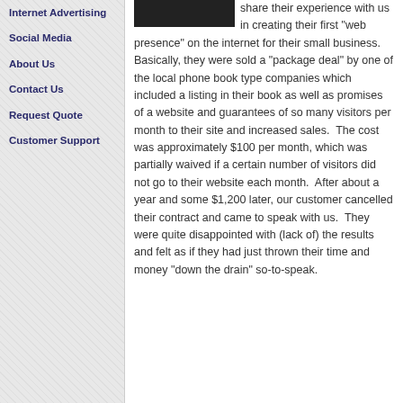Internet Advertising
Social Media
About Us
Contact Us
Request Quote
Customer Support
[Figure (photo): Black image block (redacted/blurred photo)]
share their experience with us in creating their first "web presence" on the internet for their small business.  Basically, they were sold a "package deal" by one of the local phone book type companies which included a listing in their book as well as promises of a website and guarantees of so many visitors per month to their site and increased sales.  The cost was approximately $100 per month, which was partially waived if a certain number of visitors did not go to their website each month.  After about a year and some $1,200 later, our customer cancelled their contract and came to speak with us.  They were quite disappointed with (lack of) the results and felt as if they had just thrown their time and money "down the drain" so-to-speak.